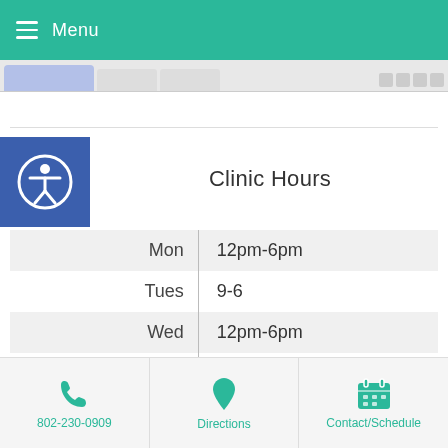Menu
[Figure (screenshot): Browser tab bar strip with active tab highlighted in blue-gray]
[Figure (illustration): Accessibility icon: white person with circle on blue square background]
Clinic Hours
| Day | Hours |
| --- | --- |
| Mon | 12pm-6pm |
| Tues | 9-6 |
| Wed | 12pm-6pm |
| Thurs | 9-6 |
| Fri | 11-5 |
| Sat | 9-1 |
| Sun | Closed |
802-230-0909   Directions   Contact/Schedule